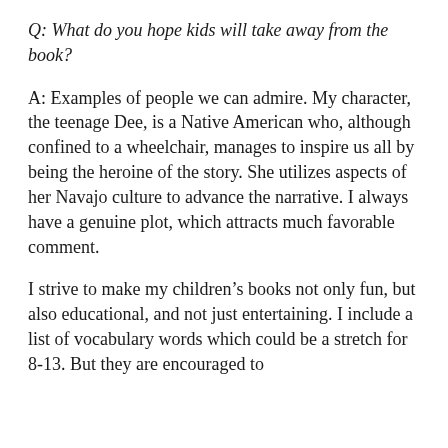Q: What do you hope kids will take away from the book?
A: Examples of people we can admire. My character, the teenage Dee, is a Native American who, although confined to a wheelchair, manages to inspire us all by being the heroine of the story. She utilizes aspects of her Navajo culture to advance the narrative. I always have a genuine plot, which attracts much favorable comment.
I strive to make my children’s books not only fun, but also educational, and not just entertaining. I include a list of vocabulary words which could be a stretch for 8-13. But they are encouraged to